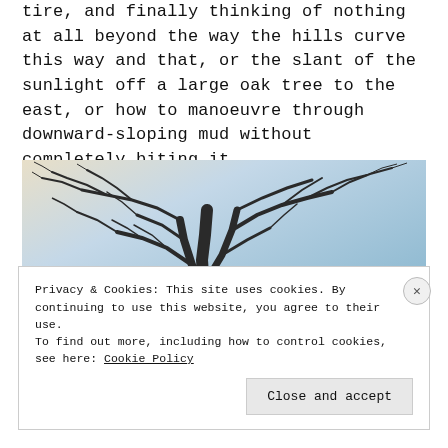tire, and finally thinking of nothing at all beyond the way the hills curve this way and that, or the slant of the sunlight off a large oak tree to the east, or how to manoeuvre through downward-sloping mud without completely biting it.
[Figure (photo): A leafless bare tree with many branches against a clear blue sky, photographed from below, winter scene.]
Privacy & Cookies: This site uses cookies. By continuing to use this website, you agree to their use.
To find out more, including how to control cookies, see here: Cookie Policy